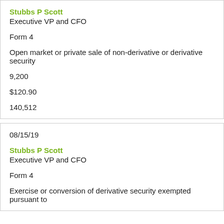Stubbs P Scott
Executive VP and CFO
Form 4
Open market or private sale of non-derivative or derivative security
9,200
$120.90
140,512
08/15/19
Stubbs P Scott
Executive VP and CFO
Form 4
Exercise or conversion of derivative security exempted pursuant to